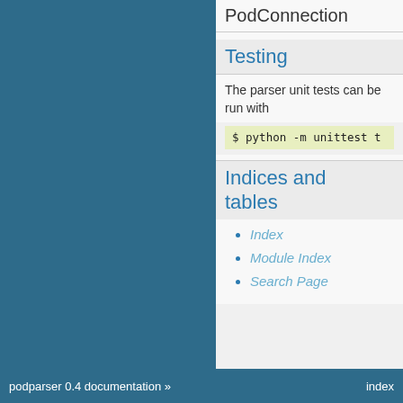PodConnection
Testing
The parser unit tests can be run with
Indices and tables
Index
Module Index
Search Page
podparser 0.4 documentation »    index